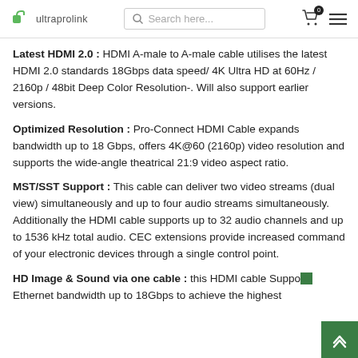ultraprolink | Search here...
Latest HDMI 2.0 : HDMI A-male to A-male cable utilises the latest HDMI 2.0 standards 18Gbps data speed/ 4K Ultra HD at 60Hz / 2160p / 48bit Deep Color Resolution-. Will also support earlier versions.
Optimized Resolution : Pro-Connect HDMI Cable expands bandwidth up to 18 Gbps, offers 4K@60 (2160p) video resolution and supports the wide-angle theatrical 21:9 video aspect ratio.
MST/SST Support : This cable can deliver two video streams (dual view) simultaneously and up to four audio streams simultaneously. Additionally the HDMI cable supports up to 32 audio channels and up to 1536 kHz total audio. CEC extensions provide increased command of your electronic devices through a single control point.
HD Image & Sound via one cable : this HDMI cable Supports Ethernet bandwidth up to 18Gbps to achieve the highest